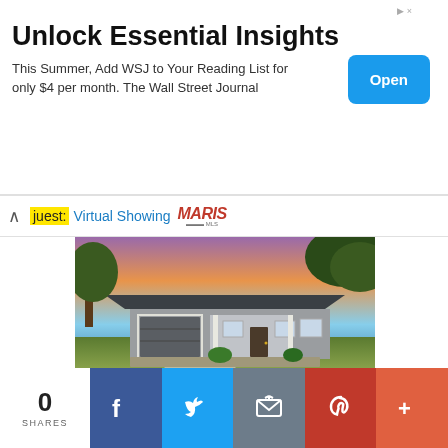[Figure (screenshot): Advertisement banner for Wall Street Journal: 'Unlock Essential Insights - This Summer, Add WSJ to Your Reading List for only $4 per month. The Wall Street Journal' with an Open button]
juest: Virtual Showing MARIS
[Figure (photo): Real estate listing photo of a single-story ranch-style house with dark gray roof, two-car garage, covered front porch, lush green lawn, and dramatic sunset sky with trees]
0 SHARES
[Figure (screenshot): Social sharing bar with Facebook, Twitter, Email, Pinterest, and More buttons]